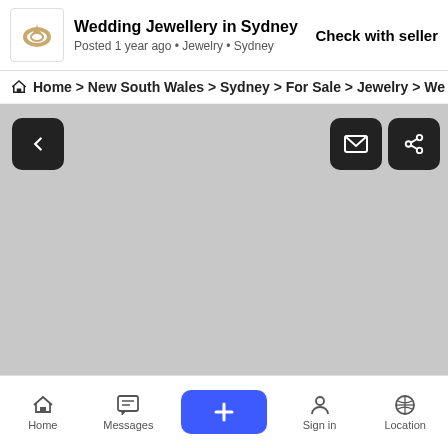Wedding Jewellery in Sydney — Posted 1 year ago • Jewelry • Sydney — Check with seller
Home > New South Wales > Sydney > For Sale > Jewelry > We
[Figure (screenshot): Large grey placeholder image area with navigation buttons (back arrow, envelope, share) overlaid on top corners]
Home | Messages | + | Sign in | Location